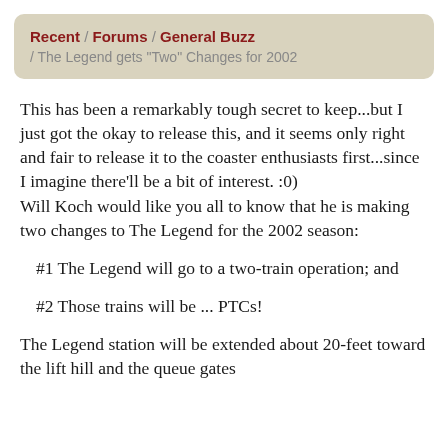Recent / Forums / General Buzz / The Legend gets "Two" Changes for 2002
This has been a remarkably tough secret to keep...but I just got the okay to release this, and it seems only right and fair to release it to the coaster enthusiasts first...since I imagine there'll be a bit of interest. :0)
Will Koch would like you all to know that he is making two changes to The Legend for the 2002 season:
#1 The Legend will go to a two-train operation; and
#2 Those trains will be ... PTCs!
The Legend station will be extended about 20-feet toward the lift hill and the queue gates